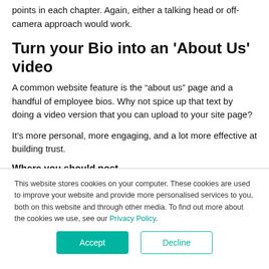points in each chapter. Again, either a talking head or off-camera approach would work.
Turn your Bio into an 'About Us' video
A common website feature is the “about us” page and a handful of employee bios. Why not spice up that text by doing a video version that you can upload to your site page?
It’s more personal, more engaging, and a lot more effective at building trust.
Where you should post
This website stores cookies on your computer. These cookies are used to improve your website and provide more personalised services to you, both on this website and through other media. To find out more about the cookies we use, see our Privacy Policy.